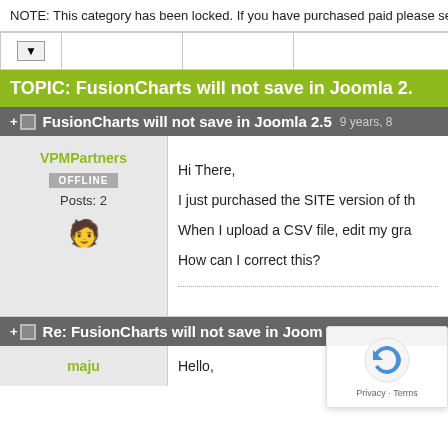NOTE: This category has been locked. If you have purchased paid please see the Community Support section.
| [dropdown] |  |  |  |
| --- | --- | --- | --- |
TOPIC: FusionCharts will not save in Joomla 2.
FusionCharts will not save in Joomla 2.5  9 years, 8
VPMPartners
OFFLINE
Posts: 2
Hi There,

I just purchased the SITE version of th

When I upload a CSV file, edit my gra

How can I correct this?
Re: FusionCharts will not save in Joom
maju

Hello,